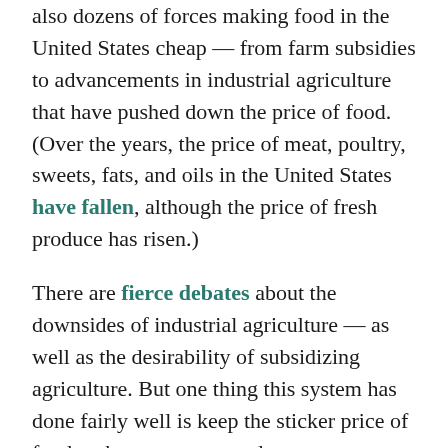also dozens of forces making food in the United States cheap — from farm subsidies to advancements in industrial agriculture that have pushed down the price of food. (Over the years, the price of meat, poultry, sweets, fats, and oils in the United States have fallen, although the price of fresh produce has risen.)
There are fierce debates about the downsides of industrial agriculture — as well as the desirability of subsidizing agriculture. But one thing this system has done fairly well is keep the sticker price of food at the grocery store down.
3) High spending on food and malnutrition seem to go hand in hand. This is another perhaps obvious point, but worth highlighting. Poorer countries that have to spend a much larger share of their budget